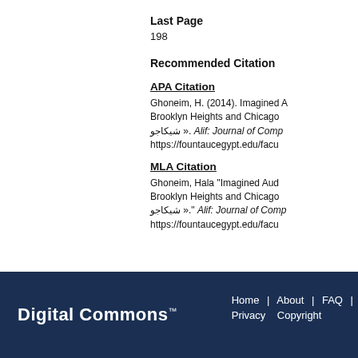Last Page
198
Recommended Citation
APA Citation
Ghoneim, H. (2014). Imagined A... Brooklyn Heights and Chicago... شيكاجو ». Alif: Journal of Comp... https://fountaucegypt.edu/facu...
MLA Citation
Ghoneim, Hala "Imagined Aud... Brooklyn Heights and Chicago... شيكاجو »." Alif: Journal of Comp... https://fountaucegypt.edu/facu...
Digital Commons™ | Home | About | FAQ | Privacy | Copyright